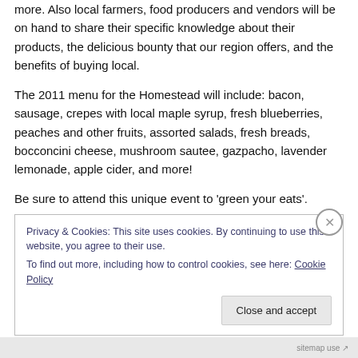more. Also local farmers, food producers and vendors will be on hand to share their specific knowledge about their products, the delicious bounty that our region offers, and the benefits of buying local.
The 2011 menu for the Homestead will include: bacon, sausage, crepes with local maple syrup, fresh blueberries, peaches and other fruits, assorted salads, fresh breads, bocconcini cheese, mushroom sautee, gazpacho, lavender lemonade, apple cider, and more!
Be sure to attend this unique event to 'green your eats'.
Privacy & Cookies: This site uses cookies. By continuing to use this website, you agree to their use.
To find out more, including how to control cookies, see here: Cookie Policy